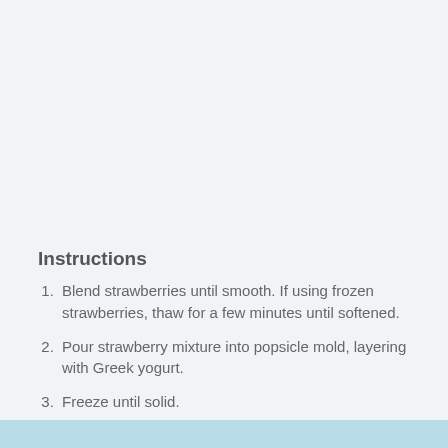Instructions
Blend strawberries until smooth.  If using frozen strawberries, thaw for a few minutes until softened.
Pour strawberry mixture into popsicle mold, layering with Greek yogurt.
Freeze until solid.
Melt chocolate pieces.  Dip popsicles into chocolate.
Enjoy!